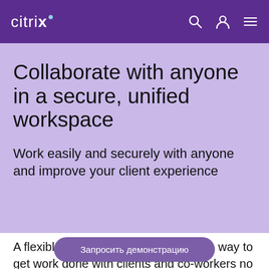citrix
Collaborate with anyone in a secure, unified workspace
Work easily and securely with anyone and improve your client experience
A flexible workforce relies on a secure way to get work done with clients and co-workers no matter the location or device. But seamless
Запросить демонстрацию